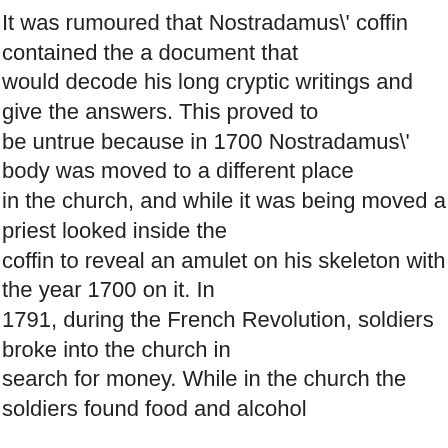It was rumoured that Nostradamus\' coffin contained the a document that would decode his long cryptic writings and give the answers. This proved to be untrue because in 1700 Nostradamus\' body was moved to a different place in the church, and while it was being moved a priest looked inside the coffin to reveal an amulet on his skeleton with the year 1700 on it. In 1791, during the French Revolution, soldiers broke into the church in search for money. While in the church the soldiers found food and alcohol